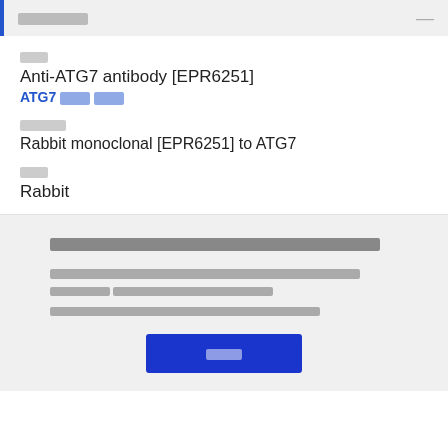□□□□□□
□□□
Anti-ATG7 antibody [EPR6251]
ATG7 □□□□ □□□□
□□□□□□
Rabbit monoclonal [EPR6251] to ATG7
□□□
Rabbit
□□□□□□□□□□□□□□□□□□□□□□□□□□□□□□□□□□□□□□□□□□
□□□□□□□□□□□□□□□□□□□□□□□□□□□□□□□□□□□□□□□□□□□□□□□□□□□□□□□□□□□□□□□□□□□□□□□□□□□□□□□□□□□□□□□□□□□□□□□□□□□□□□□□□□□□□□□□□□□□□□□□□□□□□□□□□□□□□□□□□□□□□□□□□□□□□□□□□□□□□□□□□□
□□□